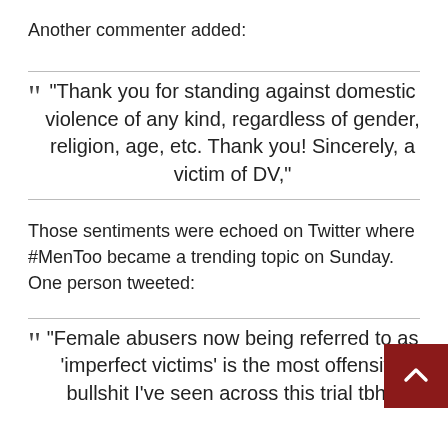Another commenter added:
“Thank you for standing against domestic violence of any kind, regardless of gender, religion, age, etc. Thank you! Sincerely, a victim of DV,”
Those sentiments were echoed on Twitter where #MenToo became a trending topic on Sunday. One person tweeted:
“Female abusers now being referred to as ‘imperfect victims’ is the most offensive bullshit I’ve seen across this trial tbh,”